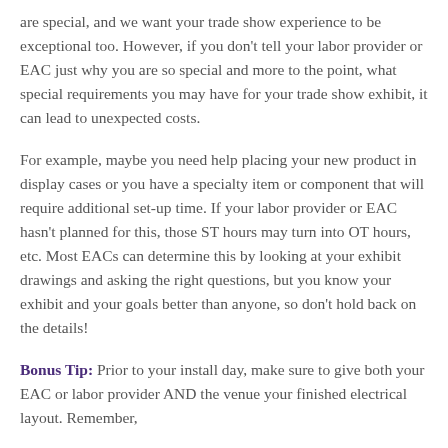are special, and we want your trade show experience to be exceptional too. However, if you don't tell your labor provider or EAC just why you are so special and more to the point, what special requirements you may have for your trade show exhibit, it can lead to unexpected costs.
For example, maybe you need help placing your new product in display cases or you have a specialty item or component that will require additional set-up time. If your labor provider or EAC hasn't planned for this, those ST hours may turn into OT hours, etc. Most EACs can determine this by looking at your exhibit drawings and asking the right questions, but you know your exhibit and your goals better than anyone, so don't hold back on the details!
Bonus Tip: Prior to your install day, make sure to give both your EAC or labor provider AND the venue your finished electrical layout. Remember,